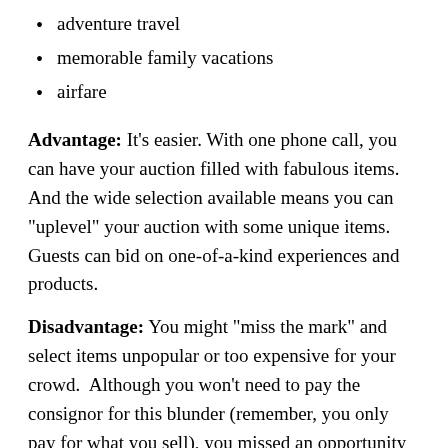adventure travel
memorable family vacations
airfare
Advantage: It’s easier. With one phone call, you can have your auction filled with fabulous items. And the wide selection available means you can “uplevel” your auction with some unique items. Guests can bid on one-of-a-kind experiences and products.
Disadvantage: You might “miss the mark” and select items unpopular or too expensive for your crowd. Although you won’t need to pay the consignor for this blunder (remember, you only pay for what you sell), you missed an opportunity to